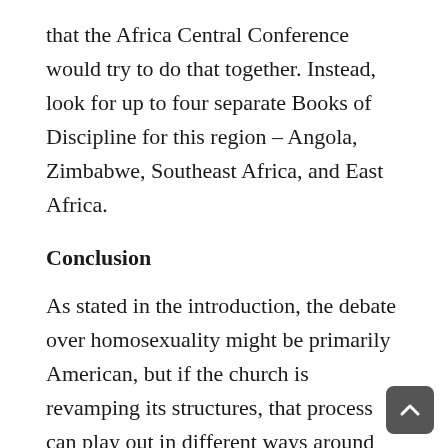that the Africa Central Conference would try to do that together. Instead, look for up to four separate Books of Discipline for this region – Angola, Zimbabwe, Southeast Africa, and East Africa.
Conclusion
As stated in the introduction, the debate over homosexuality might be primarily American, but if the church is revamping its structures, that process can play out in different ways around the globe. It would be wrong to think that changes in the structure of the church in the US will not lead to any changes in the structure of the church elsewhere.
In summary, look for Europeans to strengthen their